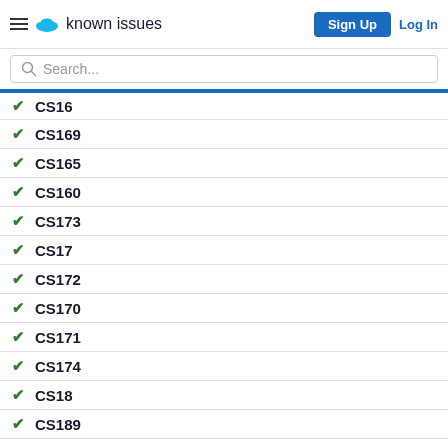known issues — Sign Up | Log In
Search...
CS16 (partial, cut off)
CS169
CS165
CS160
CS173
CS17
CS172
CS170
CS171
CS174
CS18
CS189
CS194
CS192
CS193
CS190